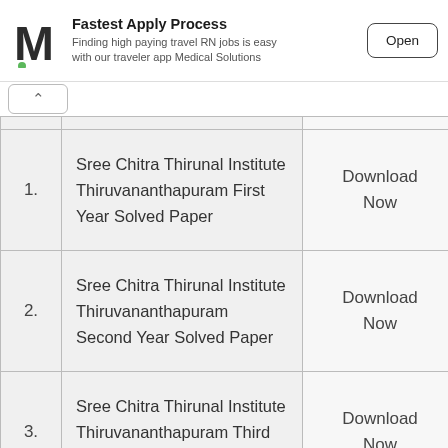[Figure (other): Advertisement banner: Medical Solutions app logo (M with green dot), text 'Fastest Apply Process - Finding high paying travel RN jobs is easy with our traveler app Medical Solutions', and an 'Open' button]
| # | Name | Action |
| --- | --- | --- |
| 1. | Sree Chitra Thirunal Institute Thiruvananthapuram First Year Solved Paper | Download Now |
| 2. | Sree Chitra Thirunal Institute Thiruvananthapuram Second Year Solved Paper | Download Now |
| 3. | Sree Chitra Thirunal Institute Thiruvananthapuram Third Year Solved Paper | Download Now |
| 4. | Sree Chitra Thirunal Institute ... | ... |